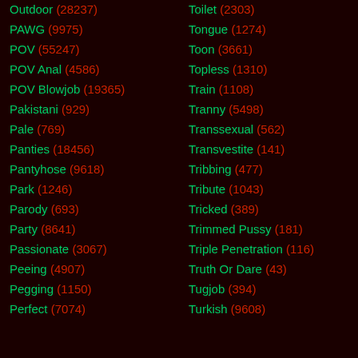Outdoor (28237)
PAWG (9975)
POV (55247)
POV Anal (4586)
POV Blowjob (19365)
Pakistani (929)
Pale (769)
Panties (18456)
Pantyhose (9618)
Park (1246)
Parody (693)
Party (8641)
Passionate (3067)
Peeing (4907)
Pegging (1150)
Perfect (7074)
Toilet (2303)
Tongue (1274)
Toon (3661)
Topless (1310)
Train (1108)
Tranny (5498)
Transsexual (562)
Transvestite (141)
Tribbing (477)
Tribute (1043)
Tricked (389)
Trimmed Pussy (181)
Triple Penetration (116)
Truth Or Dare (43)
Tugjob (394)
Turkish (9608)